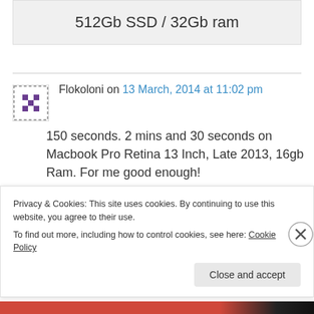512Gb SSD / 32Gb ram
Flokoloni on 13 March, 2014 at 11:02 pm
150 seconds. 2 mins and 30 seconds on Macbook Pro Retina 13 Inch, Late 2013, 16gb Ram. For me good enough!
Privacy & Cookies: This site uses cookies. By continuing to use this website, you agree to their use.
To find out more, including how to control cookies, see here: Cookie Policy